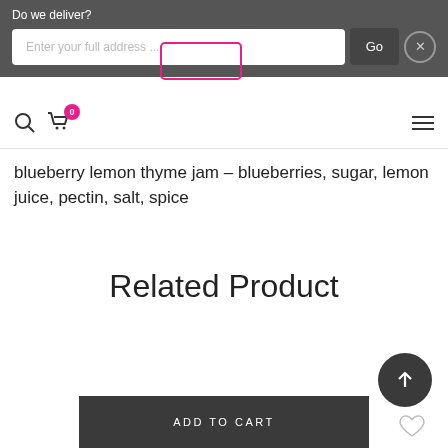Do we deliver?
Enter your full address ...
Go
blueberry lemon thyme jam – blueberries, sugar, lemon juice, pectin, salt, spice
Related Product
ADD TO CART